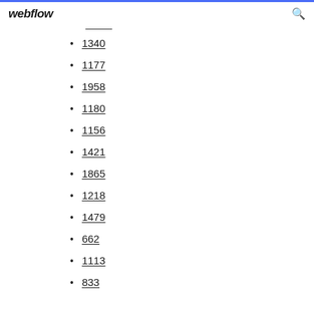webflow
1340
1177
1958
1180
1156
1421
1865
1218
1479
662
1113
833